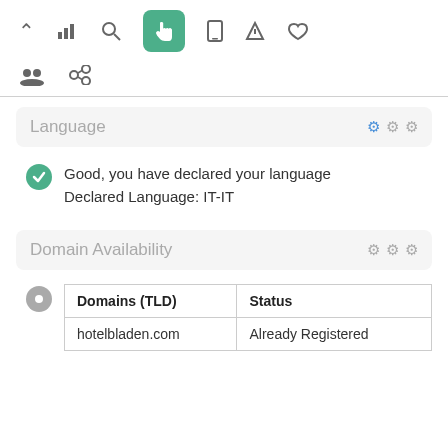[Figure (screenshot): Toolbar with navigation icons: up arrow, bar chart, search, hand pointer (active/green), mobile, send, thumbs up, people group, link]
Language
Good, you have declared your language
Declared Language: IT-IT
Domain Availability
| Domains (TLD) | Status |
| --- | --- |
| hotelbladen.com | Already Registered |